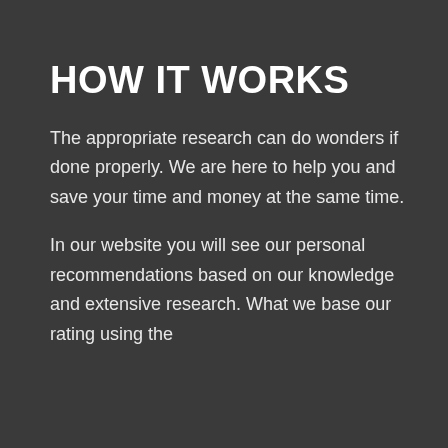HOW IT WORKS
The appropriate research can do wonders if done properly. We are here to help you and save your time and money at the same time.
In our website you will see our personal recommendations based on our knowledge and extensive research. What we base our rating using the